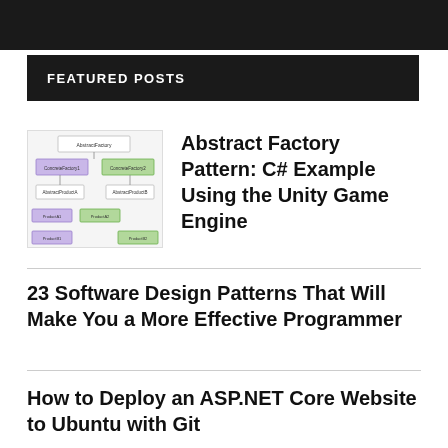[Figure (other): Dark banner at top of page]
FEATURED POSTS
[Figure (schematic): UML class diagram showing Abstract Factory pattern with purple and green boxes connected by arrows]
Abstract Factory Pattern: C# Example Using the Unity Game Engine
23 Software Design Patterns That Will Make You a More Effective Programmer
How to Deploy an ASP.NET Core Website to Ubuntu with Git